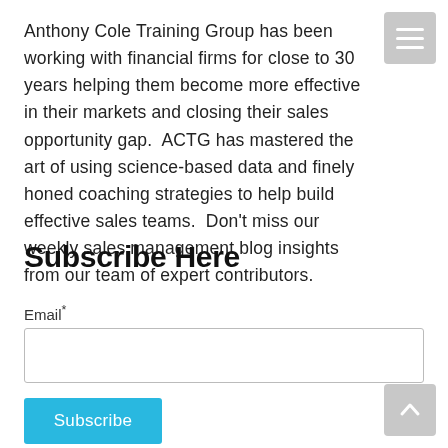Anthony Cole Training Group has been working with financial firms for close to 30 years helping them become more effective in their markets and closing their sales opportunity gap.  ACTG has mastered the art of using science-based data and finely honed coaching strategies to help build effective sales teams.  Don't miss our weekly sales management blog insights from our team of expert contributors.
Subscribe Here
Email*